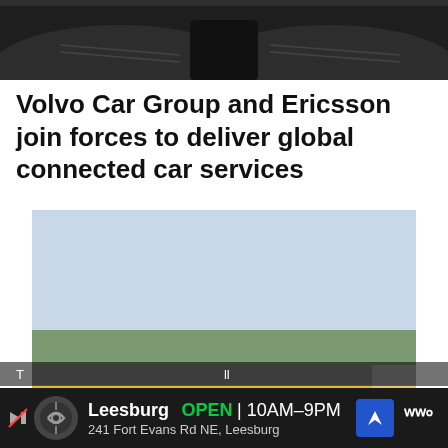[Figure (photo): Partial top view of a car interior showing dark leather seats and dashboard]
Volvo Car Group and Ericsson join forces to deliver global connected car services
[Figure (photo): A dark matte black racing prototype car with orange air intake on a race track with yellow and blue curbing]
Leesburg OPEN 10AM–9PM 241 Fort Evans Rd NE, Leesburg
T...ll